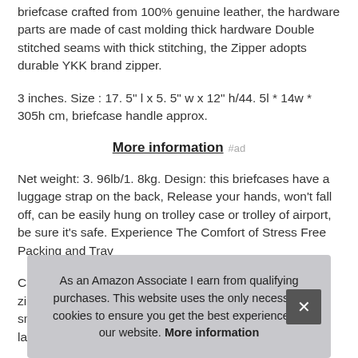briefcase crafted from 100% genuine leather, the hardware parts are made of cast molding thick hardware Double stitched seams with thick stitching, the Zipper adopts durable YKK brand zipper.
3 inches. Size : 17. 5" l x 5. 5" w x 12" h/44. 5l * 14w * 305h cm, briefcase handle approx.
More information #ad
Net weight: 3. 96lb/1. 8kg. Design: this briefcases have a luggage strap on the back, Release your hands, won't fall off, can be easily hung on trolley case or trolley of airport, be sure it's safe. Experience The Comfort of Stress Free Packing and Trav
Cap zipp small belongings, middle compartment fit up to 17.3" laptop,
As an Amazon Associate I earn from qualifying purchases. This website uses the only necessary cookies to ensure you get the best experience on our website. More information